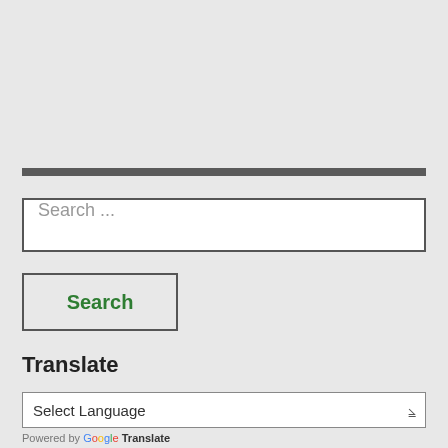[Figure (other): Horizontal dark gray divider bar]
Search ...
Search
Translate
Select Language
Powered by Google Translate